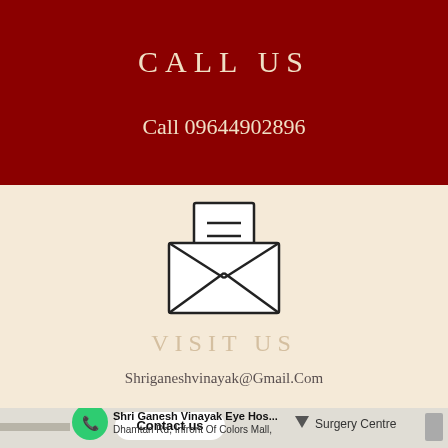CALL US
Call 09644902896
[Figure (illustration): Email envelope icon - open envelope with letter/lines inside, drawn in black outline on cream background]
VISIT US
Shriganeshvinayak@Gmail.Com
[Figure (screenshot): Map screenshot showing contact info overlay: green phone bubble, 'Contact us' button, 'Surgery Centre' label with triangle icon, hospital name 'Shri Ganesh Vinayak Eye Hos...' and address 'Dhamtari Rd, Infront Of Colors Mall,' with scrollbar]